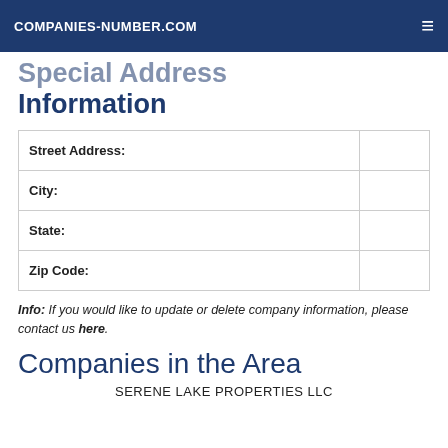COMPANIES-NUMBER.COM
Special Address Information
| Street Address: |  |
| --- | --- |
| Street Address: |  |
| City: |  |
| State: |  |
| Zip Code: |  |
Info: If you would like to update or delete company information, please contact us here.
Companies in the Area
SERENE LAKE PROPERTIES LLC